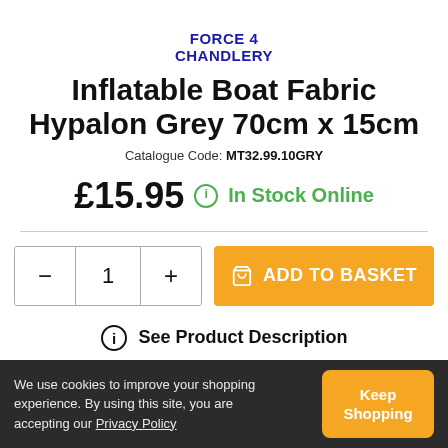[Figure (logo): Force 4 Chandlery logo in dark blue bold text, two lines: FORCE 4 / CHANDLERY]
Inflatable Boat Fabric Hypalon Grey 70cm x 15cm
Catalogue Code: MT32.99.10GRY
£15.95  (i)  In Stock Online
- 1 +  ADD TO BASKET
See Product Description
We use cookies to improve your shopping experience. By using this site, you are accepting our Privacy Policy
Keep Shopping